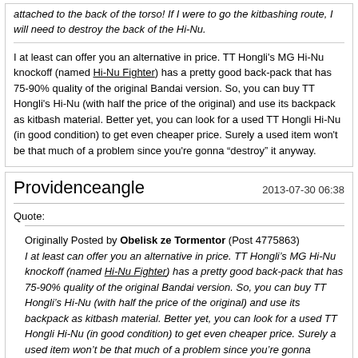attached to the back of the torso! If I were to go the kitbashing route, I will need to destroy the back of the Hi-Nu.
I at least can offer you an alternative in price. TT Hongli's MG Hi-Nu knockoff (named Hi-Nu Fighter) has a pretty good back-pack that has 75-90% quality of the original Bandai version. So, you can buy TT Hongli's Hi-Nu (with half the price of the original) and use its backpack as kitbash material. Better yet, you can look for a used TT Hongli Hi-Nu (in good condition) to get even cheaper price. Surely a used item won't be that much of a problem since you're gonna “destroy” it anyway.
Providenceangle
2013-07-30 06:38
Quote:
Originally Posted by Obelisk ze Tormentor (Post 4775863) I at least can offer you an alternative in price. TT Hongli’s MG Hi-Nu knockoff (named Hi-Nu Fighter) has a pretty good back-pack that has 75-90% quality of the original Bandai version. So, you can buy TT Hongli’s Hi-Nu (with half the price of the original) and use its backpack as kitbash material. Better yet, you can look for a used TT Hongli Hi-Nu (in good condition) to get even cheaper price. Surely a used item won’t be that much of a problem since you’re gonna “destroy” it anyway.